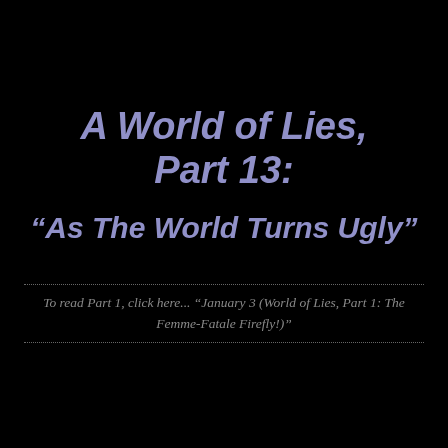A World of Lies, Part 13: “As The World Turns Ugly”
To read Part 1, click here... “January 3 (World of Lies, Part 1: The Femme-Fatale Firefly!)”